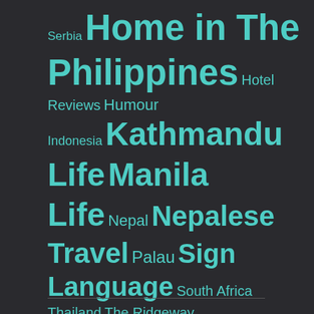[Figure (other): A tag cloud with various travel and lifestyle blog category words displayed in teal/turquoise font on a dark background. Words vary in size indicating frequency/importance. Words include: Serbia, Home in The, Philippines, Hotel Reviews, Humour, Indonesia, Kathmandu Life, Manila Life, Nepal, Nepalese Travel, Palau, Sign Language, South Africa, Thailand, The Ridgeway, U.K., Uncategorized, United States, Weekly Challenges, West Highland Way]